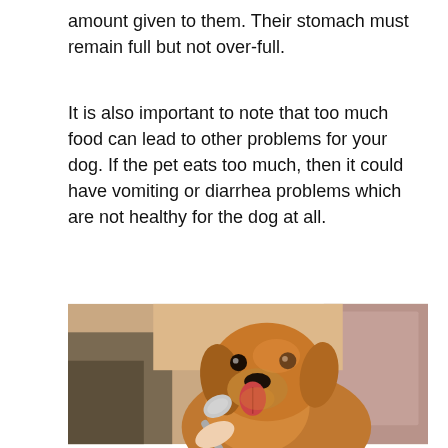amount given to them. Their stomach must remain full but not over-full.
It is also important to note that too much food can lead to other problems for your dog. If the pet eats too much, then it could have vomiting or diarrhea problems which are not healthy for the dog at all.
[Figure (photo): A golden retriever dog licking a spoon held by a person's hand. The dog has its tongue out and is looking at the camera. Background shows blurred outdoor/indoor setting with warm tones.]